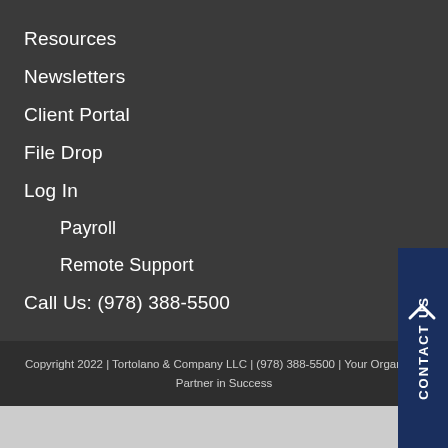Resources
Newsletters
Client Portal
File Drop
Log In
Payroll
Remote Support
Call Us: (978) 388-5500
Copyright 2022 | Tortolano & Company LLC | (978) 388-5500 | Your Organization Partner in Success